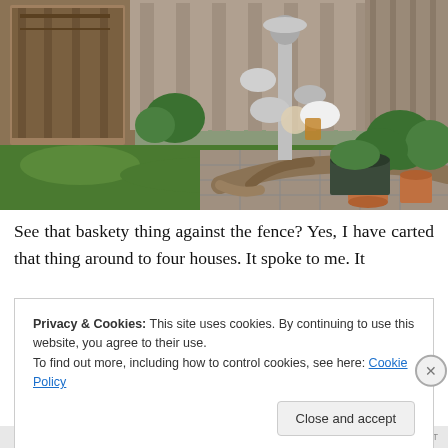[Figure (photo): Outdoor garden scene showing a green lawn, wooden fence, a decorative sculpture made of metallic objects and kitchenware, terracotta pots with plants, and a large piece of driftwood or weathered branch lying on a tiled patio area.]
See that baskety thing against the fence? Yes, I have carted that thing around to four houses. It spoke to me. It
Privacy & Cookies: This site uses cookies. By continuing to use this website, you agree to their use.
To find out more, including how to control cookies, see here: Cookie Policy
Close and accept